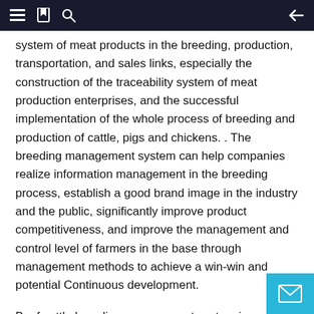≡ 🔖 🔍 ←
system of meat products in the breeding, production, transportation, and sales links, especially the construction of the traceability system of meat production enterprises, and the successful implementation of the whole process of breeding and production of cattle, pigs and chickens. . The breeding management system can help companies realize information management in the breeding process, establish a good brand image in the industry and the public, significantly improve product competitiveness, and improve the management and control level of farmers in the base through management methods to achieve a win-win and potential Continuous development.
Beef cattle breeding management system is a systematic project, which will achieve the following goals: